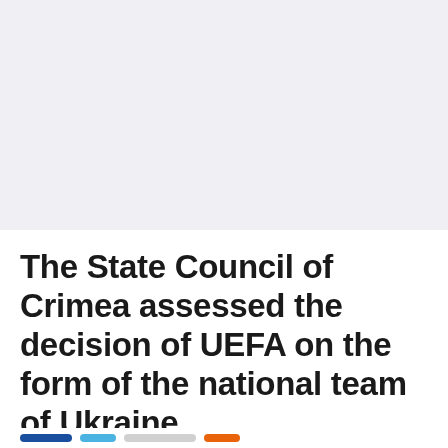The State Council of Crimea assessed the decision of UEFA on the form of the national team of Ukraine
6/10/2021, 11:30:25 PM